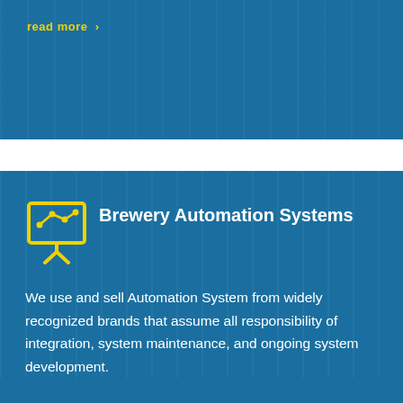read more ›
[Figure (illustration): Yellow icon of a presentation board/chart with a connected-nodes diagram on it, with two legs/stand below]
Brewery Automation Systems
We use and sell Automation System from widely recognized brands that assume all responsibility of integration, system maintenance, and ongoing system development.
read more ›